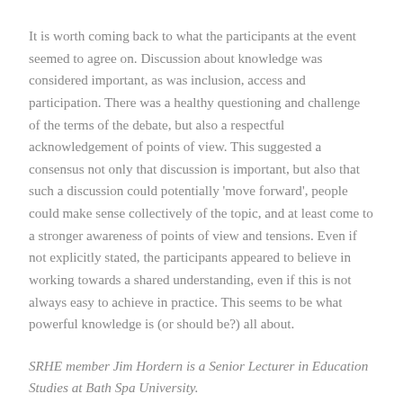It is worth coming back to what the participants at the event seemed to agree on. Discussion about knowledge was considered important, as was inclusion, access and participation. There was a healthy questioning and challenge of the terms of the debate, but also a respectful acknowledgement of points of view. This suggested a consensus not only that discussion is important, but also that such a discussion could potentially 'move forward', people could make sense collectively of the topic, and at least come to a stronger awareness of points of view and tensions. Even if not explicitly stated, the participants appeared to believe in working towards a shared understanding, even if this is not always easy to achieve in practice. This seems to be what powerful knowledge is (or should be?) all about.
SRHE member Jim Hordern is a Senior Lecturer in Education Studies at Bath Spa University.